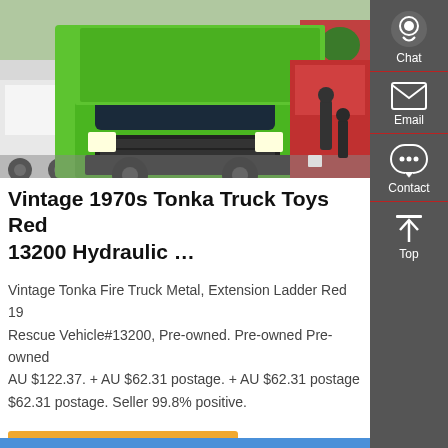[Figure (photo): A large green HOWO dump truck parked in a lot with other trucks visible in background]
Vintage 1970s Tonka Truck Toys Red 13200 Hydraulic …
Vintage Tonka Fire Truck Metal, Extension Ladder Red 19 Rescue Vehicle#13200, Pre-owned. Pre-owned Pre-owned AU $122.37. + AU $62.31 postage. + AU $62.31 postage $62.31 postage. Seller 99.8% positive.
Get a Quote